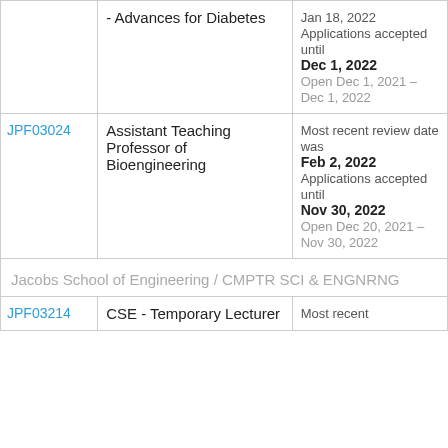| ID | Position | Dates |
| --- | --- | --- |
| JPF03024 | Assistant Teaching Professor of Bioengineering | Most recent review date was Feb 2, 2022
Applications accepted until Nov 30, 2022
Open Dec 20, 2021 – Nov 30, 2022 |
|  | Jacobs School of Engineering / CMPTR SCI & ENGNRNG |  |
| JPF03214 | CSE - Temporary Lecturer | Most recent |